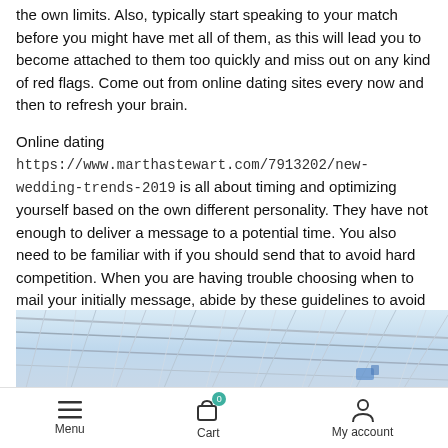the own limits. Also, typically start speaking to your match before you might have met all of them, as this will lead you to become attached to them too quickly and miss out on any kind of red flags. Come out from online dating sites every now and then to refresh your brain.
Online dating https://www.marthastewart.com/7913202/new-wedding-trends-2019 is all about timing and optimizing yourself based on the own different personality. They have not enough to deliver a message to a potential time. You also need to be familiar with if you should send that to avoid hard competition. When you are having trouble choosing when to mail your initially message, abide by these guidelines to avoid rejection. Many users fail to respond to first text messages within 1 day, so it's far better wait until one or two days once you have received the profile.
[Figure (photo): Partial view of a building exterior with steel/glass grid roof structure, light blue sky visible through the framework.]
Menu  Cart  My account